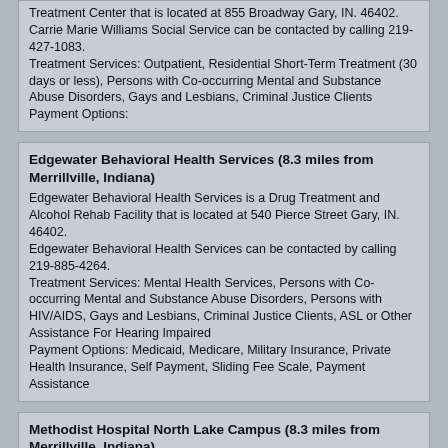Treatment Center that is located at 855 Broadway Gary, IN. 46402. Carrie Marie Williams Social Service can be contacted by calling 219-427-1083. Treatment Services: Outpatient, Residential Short-Term Treatment (30 days or less), Persons with Co-occurring Mental and Substance Abuse Disorders, Gays and Lesbians, Criminal Justice Clients Payment Options:
Edgewater Behavioral Health Services (8.3 miles from Merrillville, Indiana) Edgewater Behavioral Health Services is a Drug Treatment and Alcohol Rehab Facility that is located at 540 Pierce Street Gary, IN. 46402. Edgewater Behavioral Health Services can be contacted by calling 219-885-4264. Treatment Services: Mental Health Services, Persons with Co-occurring Mental and Substance Abuse Disorders, Persons with HIV/AIDS, Gays and Lesbians, Criminal Justice Clients, ASL or Other Assistance For Hearing Impaired Payment Options: Medicaid, Medicare, Military Insurance, Private Health Insurance, Self Payment, Sliding Fee Scale, Payment Assistance
Methodist Hospital North Lake Campus (8.3 miles from Merrillville, Indiana) Methodist Hospital North Lake Campus is an Alcohol and Drug Rehab Program that is located at 600 Grant Street Gary, IN. 46402. Methodist Hospital North Lake Campus can be contacted by calling 219-886-4000 x4705. Treatment Services: Mental Health Services, Hospital Inpatient, Seniors/Older Adults Payment Options: Medicaid, Medicare, Private Health Insurance